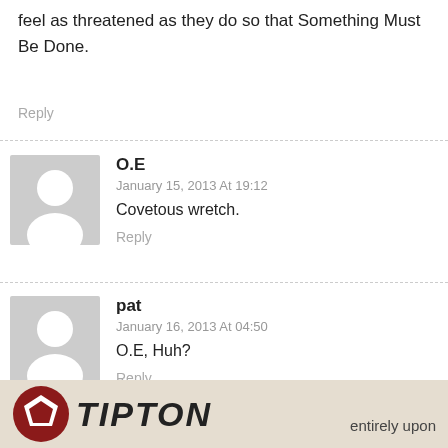feel as threatened as they do so that Something Must Be Done.
Reply
O.E
January 15, 2013 At 19:12
Covetous wretch.
Reply
pat
January 16, 2013 At 04:50
O.E, Huh?
Reply
O.E
[Figure (logo): Tipton logo with red pentagon icon and bold italic TIPTON text on a beige/tan background]
entirely upon